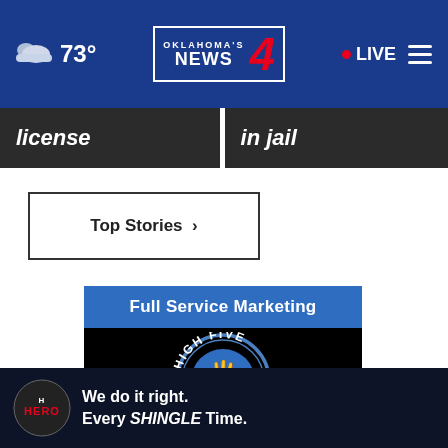73° | Oklahoma's News 4 | LIVE
license | in jail
Top Stories ›
[Figure (advertisement): Full Service Marketing ad with High Five Media logo on black background]
[Figure (advertisement): Hero roofing ad: We do it right. Every SHINGLE Time.]